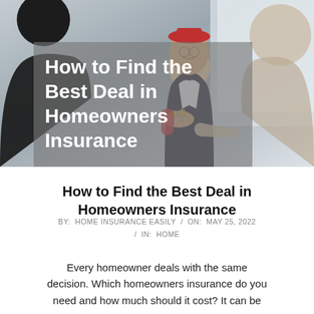[Figure (photo): Photo of an insurance agent or real estate agent handing keys to a couple, with a semi-transparent gray overlay box containing the article title text in white.]
How to Find the Best Deal in Homeowners Insurance
BY:  HOME INSURANCE EASILY  /  ON:  MAY 25, 2022  /  IN:  HOME
Every homeowner deals with the same decision. Which homeowners insurance do you need and how much should it cost? It can be